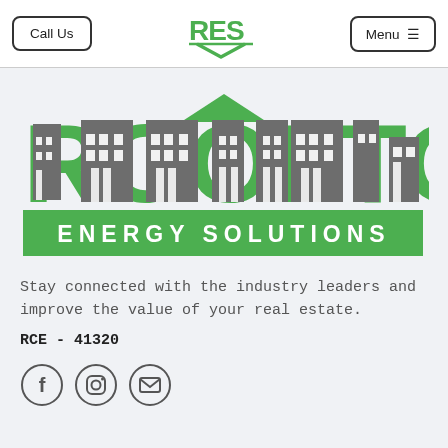Call Us | RES logo | Menu
[Figure (logo): Rooftops Energy Solutions logo with green text ROOFTOPS and building silhouettes inside letters, with green banner reading ENERGY SOLUTIONS]
Stay connected with the industry leaders and improve the value of your real estate.
RCE - 41320
[Figure (other): Social media icons: Facebook, Instagram, and email/envelope icons in circular borders]